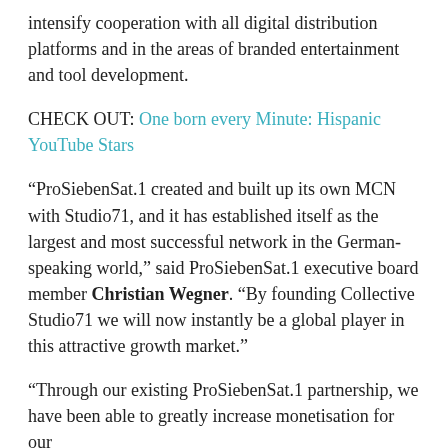intensify cooperation with all digital distribution platforms and in the areas of branded entertainment and tool development.
CHECK OUT: One born every Minute: Hispanic YouTube Stars
“ProSiebenSat.1 created and built up its own MCN with Studio71, and it has established itself as the largest and most successful network in the German-speaking world,” said ProSiebenSat.1 executive board member Christian Wegner. “By founding Collective Studio71 we will now instantly be a global player in this attractive growth market.”
“Through our existing ProSiebenSat.1 partnership, we have been able to greatly increase monetisation for our